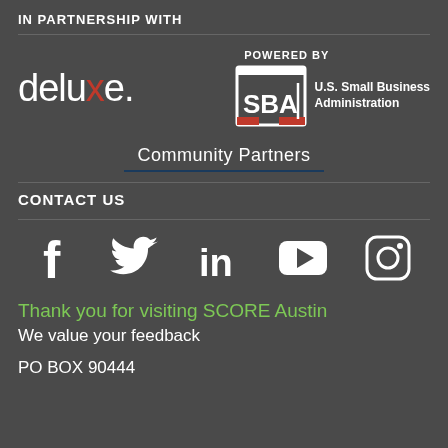IN PARTNERSHIP WITH
[Figure (logo): Deluxe logo in white text with red X, and SBA (U.S. Small Business Administration) logo with 'POWERED BY' label]
Community Partners
CONTACT US
[Figure (infographic): Social media icons row: Facebook, Twitter, LinkedIn, YouTube, Instagram]
Thank you for visiting SCORE Austin
We value your feedback
PO BOX 90444